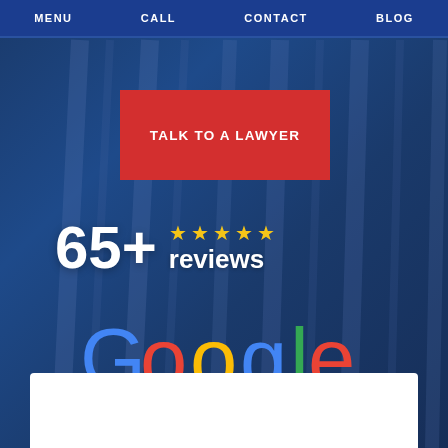MENU  CALL  CONTACT  BLOG
TALK TO A LAWYER
65+ ★★★★★ reviews
[Figure (logo): Google logo in standard multicolor text]
[Figure (other): White card panel at bottom of page]